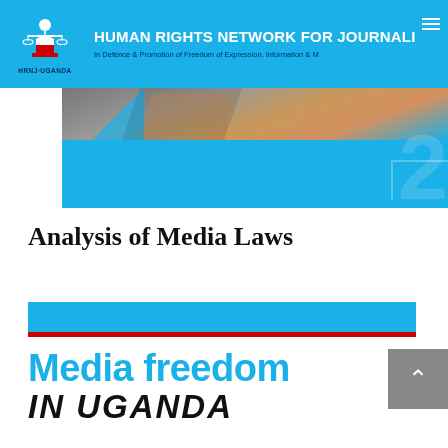[Figure (logo): HRNJ-Uganda logo with scales of justice icon and organization name]
HUMAN RIGHTS NETWORK FOR JOURNALISTS
In Defence & Promotion of Freedom of Expression, Information & M
[Figure (photo): Blue banner with photo strip showing feet/legs on ground and decorative geometric shapes with watermark number]
Analysis of Media Laws
[Figure (illustration): Blue horizontal bar with red line below it, serving as decorative section divider]
Media freedom
IN UGANDA